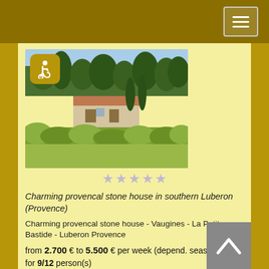[Figure (photo): Provencal stone house surrounded by olive trees and Mediterranean vegetation under a clear blue sky. Wheelchair accessibility icon overlaid in top-left corner.]
[Figure (other): Five star rating icons in light gray/purple color]
Charming provencal stone house in southern Luberon (Provence)
Charming provencal stone house - Vaugines - La Petite Bastide - Luberon Provence
from 2.700 € to 5.500 € per week (depend. season)
for 9/12 person(s)
Check this Holiday rental in Luberon et proche Luberon
Locate this Holiday rental